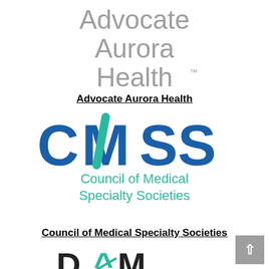[Figure (logo): Advocate Aurora Health logo in grey text, three lines: Advocate, Aurora, Health with trademark symbol]
Advocate Aurora Health
[Figure (logo): CMSS logo: large blue and teal acronym CMSS with Council of Medical Specialty Societies subtitle in teal]
Council of Medical Specialty Societies
[Figure (logo): Partial DME logo visible at bottom of page in black and teal]